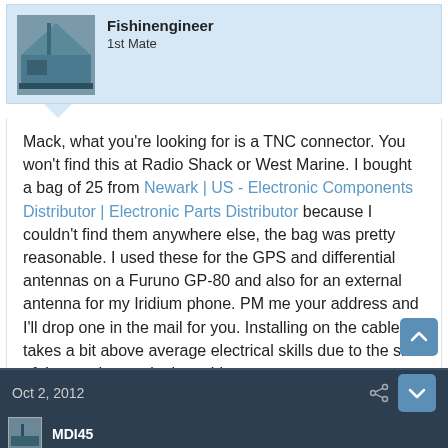Fishinengineer
1st Mate
Mack, what you're looking for is a TNC connector. You won't find this at Radio Shack or West Marine. I bought a bag of 25 from Newark | US - Electronic Components Distributor | Electronic Parts Distributor because I couldn't find them anywhere else, the bag was pretty reasonable. I used these for the GPS and differential antennas on a Furuno GP-80 and also for an external antenna for my Iridium phone. PM me your address and I'll drop one in the mail for you. Installing on the cable takes a bit above average electrical skills due to the size of the conductors in the cable.
Oct 2, 2012
MDI45